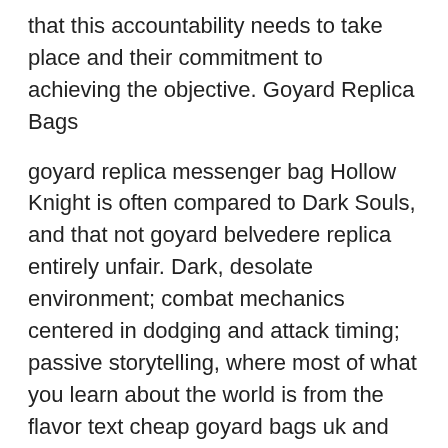that this accountability needs to take place and their commitment to achieving the objective. Goyard Replica Bags
goyard replica messenger bag Hollow Knight is often compared to Dark Souls, and that not goyard belvedere replica entirely unfair. Dark, desolate environment; combat mechanics centered in dodging and attack timing; passive storytelling, where most of what you learn about the world is from the flavor text cheap goyard bags uk and remains you find in the ruins. But the cutesy characters, gorgeous art and graphics, well tuned mechanics, plethora of upgrades (and combinations of them!) and the amazing soundtrack. goyard replica messenger bag
cheap goyard It should be unlimited: One of the important elements of a good backup tool is that it